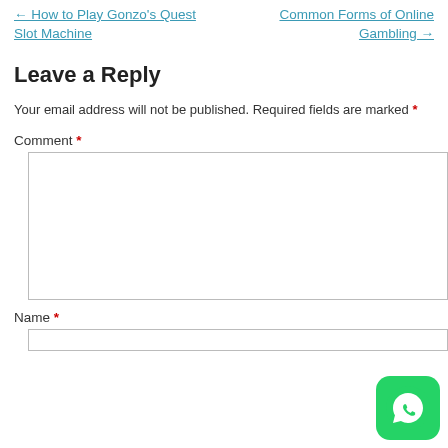← How to Play Gonzo's Quest Slot Machine
Common Forms of Online Gambling →
Leave a Reply
Your email address will not be published. Required fields are marked *
Comment *
Name *